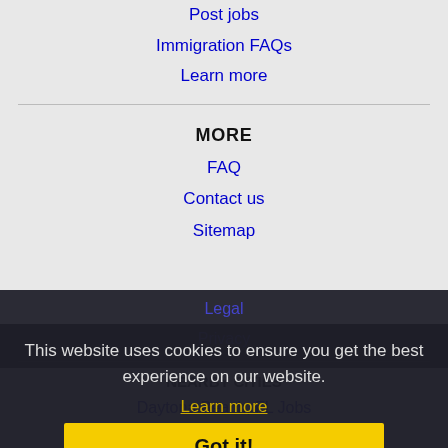Post jobs
Immigration FAQs
Learn more
MORE
FAQ
Contact us
Sitemap
Legal
Privacy
NEARBY CITIES
Daytona Beach, FL Jobs
Gainesville, FL Jobs
Ocala, FL Jobs
Palm Coast, FL Jobs
This website uses cookies to ensure you get the best experience on our website.
Learn more
Got it!